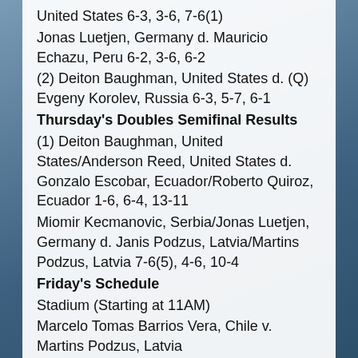United States 6-3, 3-6, 7-6(1)
Jonas Luetjen, Germany d. Mauricio Echazu, Peru 6-2, 3-6, 6-2
(2) Deiton Baughman, United States d. (Q) Evgeny Korolev, Russia 6-3, 5-7, 6-1
Thursday's Doubles Semifinal Results
(1) Deiton Baughman, United States/Anderson Reed, United States d. Gonzalo Escobar, Ecuador/Roberto Quiroz, Ecuador 1-6, 6-4, 13-11
Miomir Kecmanovic, Serbia/Jonas Luetjen, Germany d. Janis Podzus, Latvia/Martins Podzus, Latvia 7-6(5), 4-6, 10-4
Friday's Schedule
Stadium (Starting at 11AM)
Marcelo Tomas Barrios Vera, Chile v. Martins Podzus, Latvia
Not before 1PM
(2) Deiton Baughman, United States v. Jonas